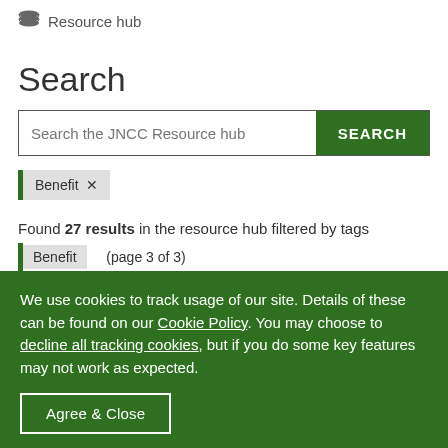Resource hub
Search
[Figure (screenshot): Search input bar with placeholder text 'Search the JNCC Resource hub' and a dark green SEARCH button]
Benefit ×
Found 27 results in the resource hub filtered by tags Benefit (page 3 of 3)
We use cookies to track usage of our site. Details of these can be found on our Cookie Policy. You may choose to decline all tracking cookies, but if you do some key features may not work as expected.
Agree & Close